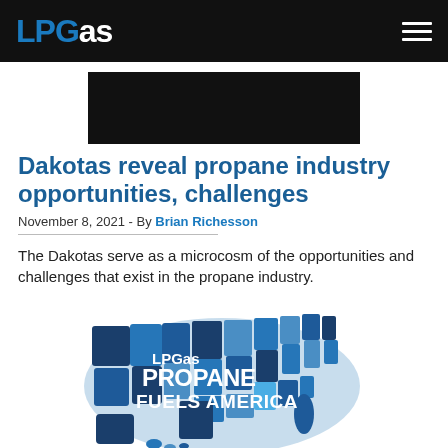LPGas
[Figure (other): Black advertisement banner placeholder]
Dakotas reveal propane industry opportunities, challenges
November 8, 2021 -  By Brian Richesson
The Dakotas serve as a microcosm of the opportunities and challenges that exist in the propane industry.
[Figure (map): LPGas Propane Fuels America - map of the United States with states colored in various shades of blue, overlaid with the text 'LPGas PROPANE FUELS AMERICA']